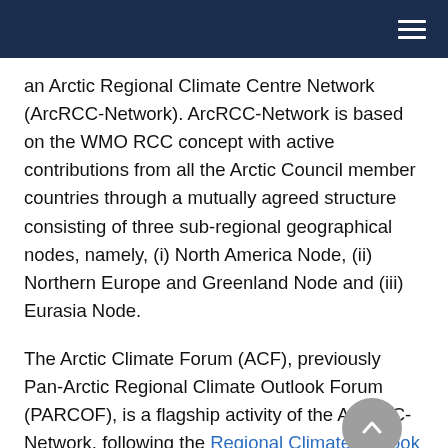[Navigation bar with hamburger menu]
an Arctic Regional Climate Centre Network (ArcRCC-Network). ArcRCC-Network is based on the WMO RCC concept with active contributions from all the Arctic Council member countries through a mutually agreed structure consisting of three sub-regional geographical nodes, namely, (i) North America Node, (ii) Northern Europe and Greenland Node and (iii) Eurasia Node.
The Arctic Climate Forum (ACF), previously Pan-Arctic Regional Climate Outlook Forum (PARCOF), is a flagship activity of the ArcRCC-Network, following the Regional Climate Outlook Forum (RCOF) concept supported by WMO and its partners around the world.
The first session of ACF took place in Ottawa, Canada